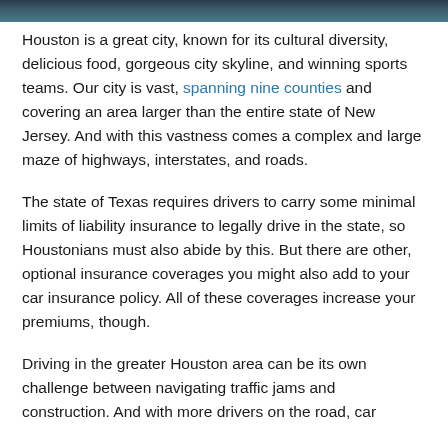[Figure (photo): Partial image bar at top of page showing a city scene (cropped photo background)]
Houston is a great city, known for its cultural diversity, delicious food, gorgeous city skyline, and winning sports teams. Our city is vast, spanning nine counties and covering an area larger than the entire state of New Jersey. And with this vastness comes a complex and large maze of highways, interstates, and roads.
The state of Texas requires drivers to carry some minimal limits of liability insurance to legally drive in the state, so Houstonians must also abide by this. But there are other, optional insurance coverages you might also add to your car insurance policy. All of these coverages increase your premiums, though.
Driving in the greater Houston area can be its own challenge between navigating traffic jams and construction. And with more drivers on the road, car